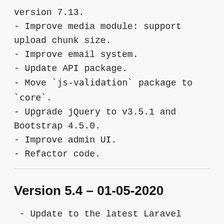version 7.13.
- Improve media module: support upload chunk size.
- Improve email system.
- Update API package.
- Move `js-validation` package to `core`.
- Upgrade jQuery to v3.5.1 and Bootstrap 4.5.0.
- Improve admin UI.
- Refactor code.
Version 5.4 – 01-05-2020
- Update to the latest Laravel version 7.8.